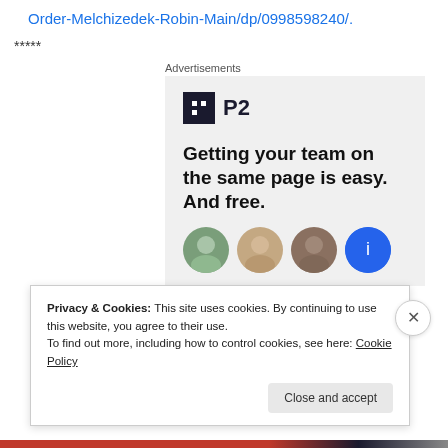Order-Melchizedek-Robin-Main/dp/0998598240/.
*****
Advertisements
[Figure (screenshot): P2 advertisement banner with logo, headline 'Getting your team on the same page is easy. And free.' and circular user avatars below]
Privacy & Cookies: This site uses cookies. By continuing to use this website, you agree to their use.
To find out more, including how to control cookies, see here: Cookie Policy